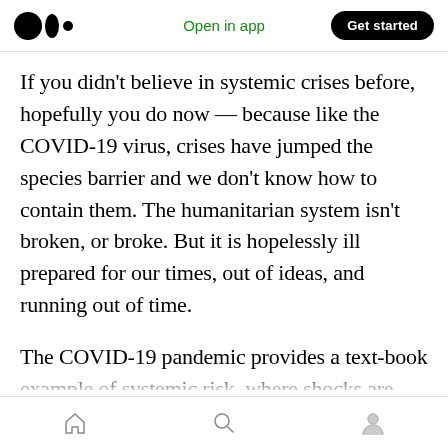Open in app | Get started
If you didn't believe in systemic crises before, hopefully you do now — because like the COVID-19 virus, crises have jumped the species barrier and we don't know how to contain them. The humanitarian system isn't broken, or broke. But it is hopelessly ill prepared for our times, out of ideas, and running out of time.
The COVID-19 pandemic provides a text-book example of systemic risk, where shocks are transmitted through the networks and systems that our global economy depends on. The cascading consequences are hard to predict
Home | Search | Profile